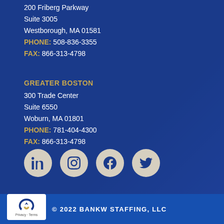200 Friberg Parkway
Suite 3005
Westborough, MA 01581
PHONE: 508-836-3355
FAX: 866-313-4798
GREATER BOSTON
300 Trade Center
Suite 6550
Woburn, MA 01801
PHONE: 781-404-4300
FAX: 866-313-4798
[Figure (illustration): Four social media icons in light beige circles: LinkedIn, Instagram, Facebook, Twitter]
[Figure (logo): reCAPTCHA logo with Privacy and Terms text]
© 2022 BANKW STAFFING, LLC